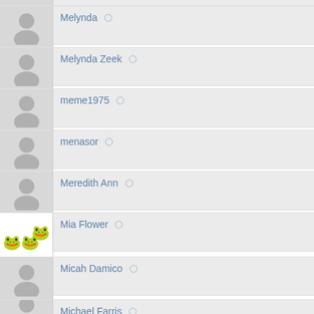Melynda ○
Melynda Zeek ○
meme1975 ○
menasor ○
Meredith Ann ○
Mia Flower ○
Micah Damico ○
Michael Farris ○